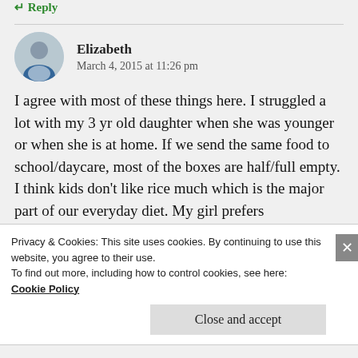Reply
Elizabeth
March 4, 2015 at 11:26 pm
I agree with most of these things here. I struggled a lot with my 3 yr old daughter when she was younger or when she is at home. If we send the same food to school/daycare, most of the boxes are half/full empty.
I think kids don’t like rice much which is the major part of our everyday diet. My girl prefers
Privacy & Cookies: This site uses cookies. By continuing to use this website, you agree to their use.
To find out more, including how to control cookies, see here:
Cookie Policy
Close and accept